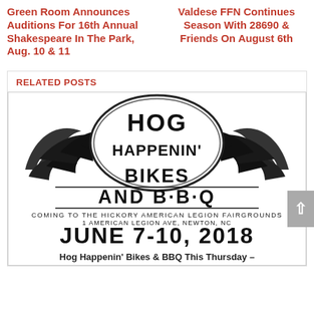Green Room Announces Auditions For 16th Annual Shakespeare In The Park, Aug. 10 & 11
Valdese FFN Continues Season With 28690 & Friends On August 6th
RELATED POSTS
[Figure (logo): Hog Happenin' Bikes and BBQ event logo with wings, coming to the Hickory American Legion Fairgrounds, 1 American Legion Ave, Newton, NC, June 7-10, 2018]
Hog Happenin' Bikes & BBQ This Thursday –